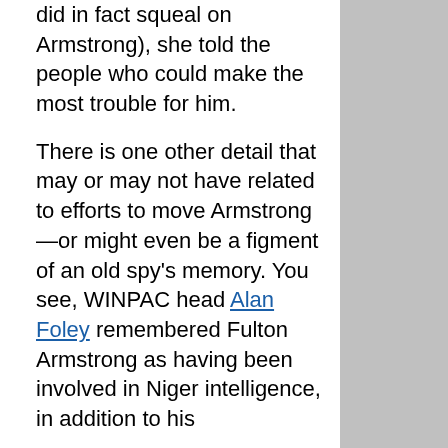did in fact squeal on Armstrong), she told the people who could make the most trouble for him.
There is one other detail that may or may not have related to efforts to move Armstrong—or might even be a figment of an old spy's memory. You see, WINPAC head Alan Foley remembered Fulton Armstrong as having been involved in Niger intelligence, in addition to his
[Figure (other): Gray rectangle filling the right portion of the page]